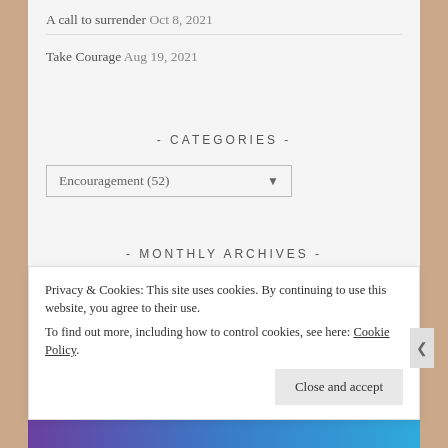A call to surrender Oct 8, 2021
Take Courage Aug 19, 2021
- CATEGORIES -
Encouragement  (52)  ▾
- MONTHLY ARCHIVES -
Select Month  ▾
Privacy & Cookies: This site uses cookies. By continuing to use this website, you agree to their use.
To find out more, including how to control cookies, see here: Cookie Policy
Close and accept